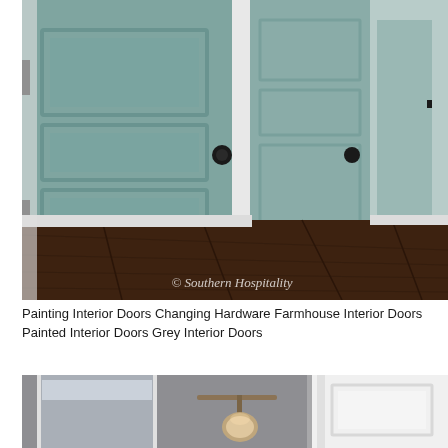[Figure (photo): Interior hallway with grey-painted panel doors with black hardware (knobs and hinges), white door frames and baseboards, and dark hardwood flooring. The hallway leads into the distance showing more grey doors. Watermark reads '© Southern Hospitality'.]
Painting Interior Doors Changing Hardware Farmhouse Interior Doors Painted Interior Doors Grey Interior Doors
[Figure (photo): Bottom portion of an interior bathroom or room photo showing grey walls, a white paneled door frame, and an industrial-style wall sconce light fixture with a metal arm and globe shade.]